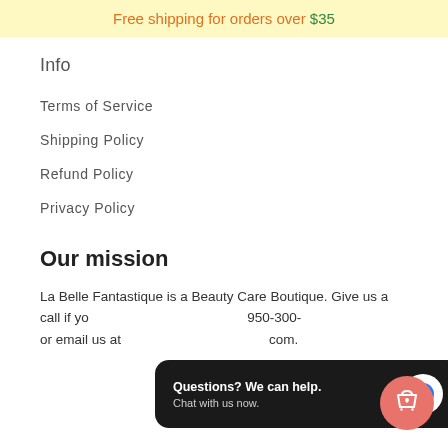Free shipping for orders over $35
Info
Terms of Service
Shipping Policy
Refund Policy
Privacy Policy
Our mission
La Belle Fantastique is a Beauty Care Boutique. Give us a call if you have any questions at 1-950-300-8... or email us at ...com.
[Figure (screenshot): Chat widget overlay with text 'Questions? We can help. Chat with us now.' and a blue speech bubble icon on dark background]
[Figure (illustration): Salmon/coral circular button with shopping bag and heart icon]